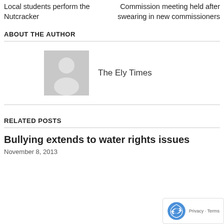Local students perform the Nutcracker
Commission meeting held after swearing in new commissioners
ABOUT THE AUTHOR
[Figure (illustration): Generic grey person/avatar placeholder image with white silhouette of a person on grey background]
The Ely Times
RELATED POSTS
Bullying extends to water rights issues
November 8, 2013